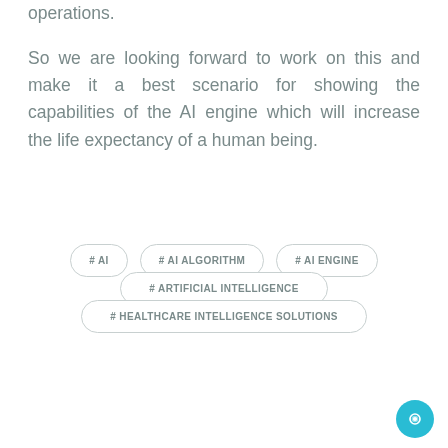operations.
So we are looking forward to work on this and make it a best scenario for showing the capabilities of the AI engine which will increase the life expectancy of a human being.
# AI
# AI ALGORITHM
# AI ENGINE
# ARTIFICIAL INTELLIGENCE
# HEALTHCARE INTELLIGENCE SOLUTIONS